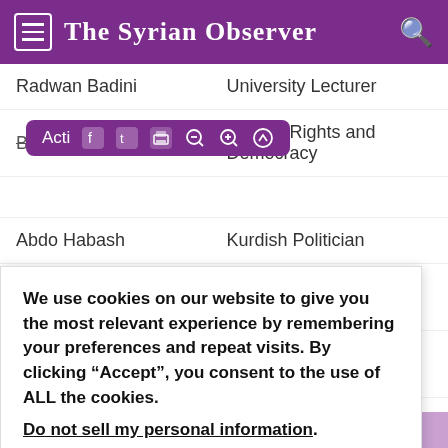The Syrian Observer
| Name | Role |
| --- | --- |
| Radwan Badini | University Lecturer |
| Bassam al-Shaikh | Human Rights and Democracy Activist |
| Abdo Habash | Kurdish Politician |
| Jiwan Khoushid al-Yousif | Human Rights Activist |
| Talal Mohammad | President of Democratic Peace Party |
We use cookies on our website to give you the most relevant experience by remembering your preferences and repeat visits. By clicking “Accept”, you consent to the use of ALL the cookies. Do not sell my personal information.